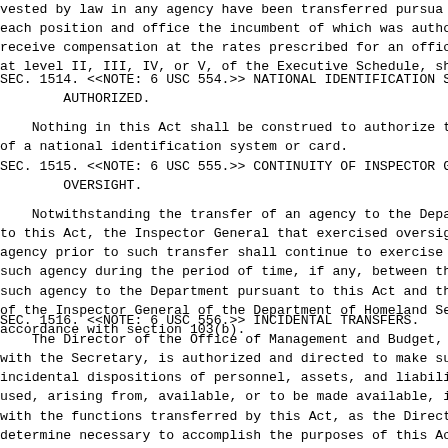vested by law in any agency have been transferred pursua
each position and office the incumbent of which was autho
receive compensation at the rates prescribed for an offic
at level II, III, IV, or V, of the Executive Schedule, sh
SEC. 1514. <<NOTE: 6 USC 554.>> NATIONAL IDENTIFICATION S
        AUTHORIZED.
Nothing in this Act shall be construed to authorize t
of a national identification system or card.
SEC. 1515. <<NOTE: 6 USC 555.>> CONTINUITY OF INSPECTOR G
        OVERSIGHT.
Notwithstanding the transfer of an agency to the Depa
to this Act, the Inspector General that exercised oversig
agency prior to such transfer shall continue to exercise 
such agency during the period of time, if any, between th
such agency to the Department pursuant to this Act and th
of the Inspector General of the Department of Homeland Se
accordance with section 103(b).
SEC. 1516. <<NOTE: 6 USC 556.>> INCIDENTAL TRANSFERS.
The Director of the Office of Management and Budget, 
with the Secretary, is authorized and directed to make su
incidental dispositions of personnel, assets, and liabili
used, arising from, available, or to be made available, i
with the functions transferred by this Act, as the Direct
determine necessary to accomplish the purposes of this Ac